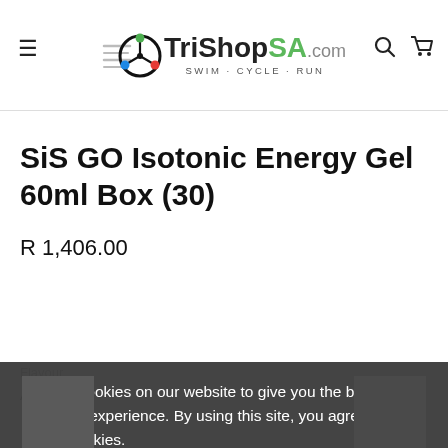TriShopSA.com SWIM - CYCLE - RUN
SiS GO Isotonic Energy Gel 60ml Box (30)
R 1,406.00
Flavour
Apple
We use cookies on our website to give you the best shopping experience. By using this site, you agree to its use of cookies.
I agree